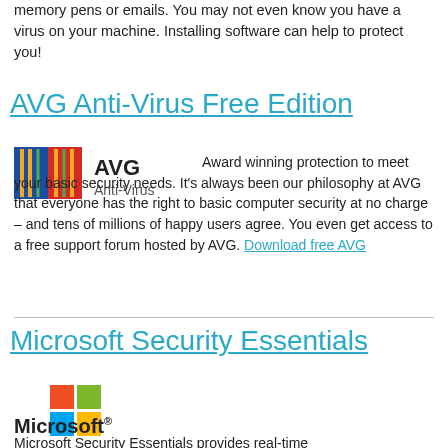memory pens or emails.  You may not even know you have a virus on your machine.  Installing software can help to protect you!
AVG Anti-Virus Free Edition
[Figure (logo): AVG Anti-Virus logo with colorful shield icon and AVG Anti-Virus text]
Award winning protection to meet your basic security needs.  It's always been our philosophy at AVG that everyone has the right to basic computer security at no charge – and tens of millions of happy users agree.  You even get access to a free support forum hosted by AVG. Download free AVG
Microsoft Security Essentials
[Figure (logo): Microsoft Windows logo (four colored squares) and Microsoft wordmark]
Microsoft Security Essentials provides real-time